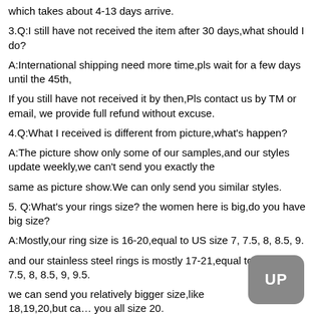which takes about 4-13 days arrive.
3.Q:I still have not received the item after 30 days,what should I do?
A:International shipping need more time,pls wait for a few days until the 45th,
If you still have not received it by then,Pls contact us by TM or email, we provide full refund without excuse.
4.Q:What I received is different from picture,what's happen?
A:The picture show only some of our samples,and our styles update weekly,we can't send you exactly the
same as picture show.We can only send you similar styles.
5. Q:What's your rings size? the women here is big,do you have big size?
A:Mostly,our ring size is 16-20,equal to US size 7, 7.5, 8, 8.5, 9.
and our stainless steel rings is mostly 17-21,equal to US size 7.5, 8, 8.5, 9, 9.5.
we can send you relatively bigger size,like 18,19,20,but ca… you all size 20.